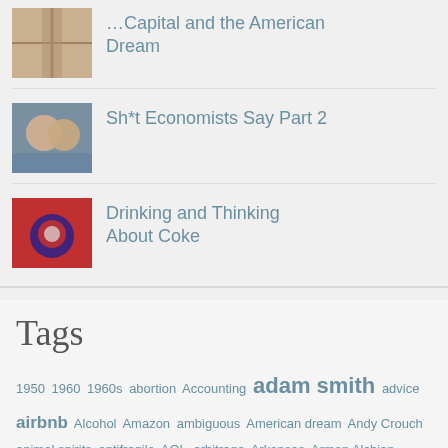[Figure (photo): Thumbnail image - architectural/structural photo (partial at top)]
...Capital and the American Dream
[Figure (photo): Thumbnail image - two people selfie photo]
Sh*t Economists Say Part 2
[Figure (photo): Thumbnail image - red and blue circular object (Coke can/drink)]
Drinking and Thinking About Coke
Tags
1950 1960 1960s abortion Accounting adam smith advice airbnb Alcohol Amazon ambiguous American dream Andy Crouch animal spirits antifragile AOL arbitrage Arkansas Armen Alchian Artificial Intelligence asset specificity asylum asymmetric information Austrian Economics automation